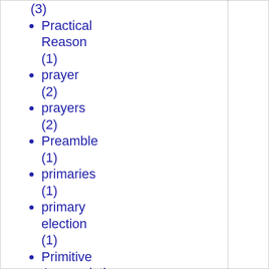(3)
Practical Reason (1)
prayer (2)
prayers (2)
Preamble (1)
primaries (1)
primary election (1)
Primitive Accumulation (2)
Primitivism (1)
principle (1)
privacy (2)
pro choice